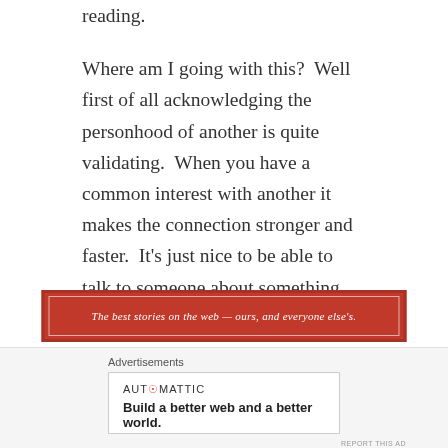reading.
Where am I going with this?  Well first of all acknowledging the personhood of another is quite validating.  When you have a common interest with another it makes the connection stronger and faster.  It's just nice to be able to talk to someone about something your interested in and want to share.
[Figure (other): Red advertisement banner: 'The best stories on the web — ours, and everyone else's.']
REPORT THIS AD
How does this apply to you after being diagnosed with a chronic or life-altering illness?  Support groups are a
Advertisements
[Figure (other): Automattic advertisement: 'Build a better web and a better world.']
REPORT THIS AD